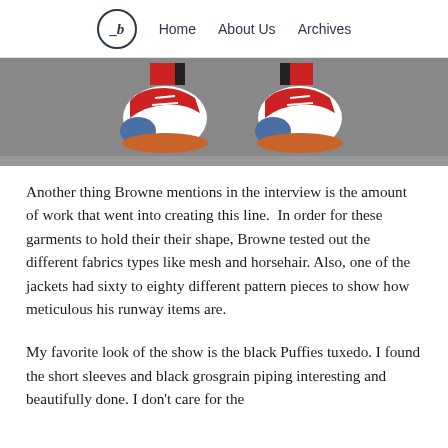_b  Home  About Us  Archives
[Figure (photo): Close-up photo of colorful brogue shoes (red, white, blue, with orange soles) on a gray pavement surface, with red socks visible above.]
Another thing Browne mentions in the interview is the amount of work that went into creating this line.  In order for these garments to hold their their shape,  Browne tested out the different fabrics types like mesh and horsehair. Also, one of the jackets had sixty to eighty different pattern pieces to show how meticulous his runway items are.
My favorite look of the show is the black Puffies tuxedo. I found the short sleeves and black grosgrain piping interesting and beautifully done. I don't care for the